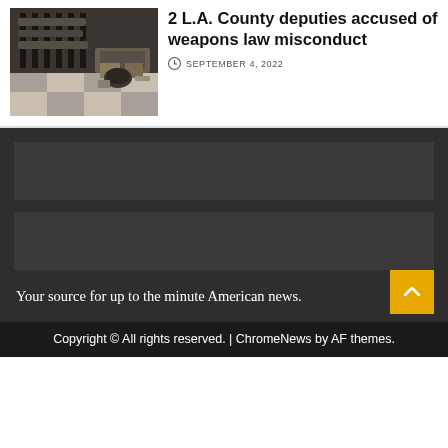[Figure (photo): Photo of weapons/firearms-related items on a surface, including what appears to be guns and accessories on a checkered surface]
2 L.A. County deputies accused of weapons law misconduct
SEPTEMBER 4, 2022
[Figure (other): Dark gray advertisement/widget block 1]
[Figure (other): Dark gray advertisement/widget block 2]
Your source for up to the minute American news.
Copyright © All rights reserved. | ChromeNews by AF themes.